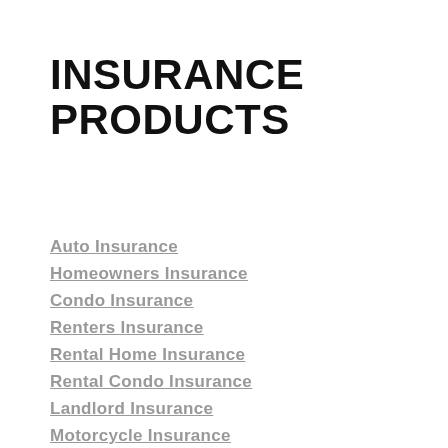INSURANCE PRODUCTS
Auto Insurance
Homeowners Insurance
Condo Insurance
Renters Insurance
Rental Home Insurance
Rental Condo Insurance
Landlord Insurance
Motorcycle Insurance
Personal Umbrella Policy
Earthquake Insurance
Flood Insurance
Off Road Vehicles
Motor Home Insurance
Mobile Home Insurance